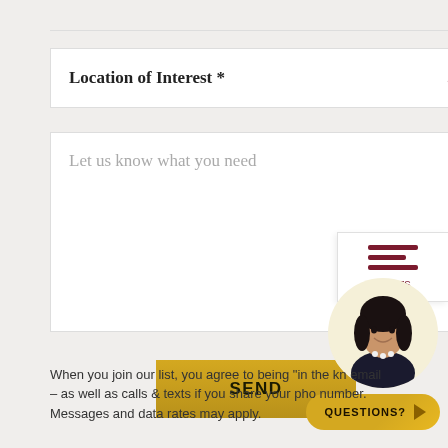Location of Interest *
Let us know what you need
[Figure (other): Filters icon with three horizontal bars and label 'Filters']
SEND
[Figure (photo): Circular avatar photo of a smiling woman with dark hair and pearl necklace]
QUESTIONS?
When you join our list, you agree to being "in the kn email – as well as calls & texts if you share your pho number. Messages and data rates may apply.